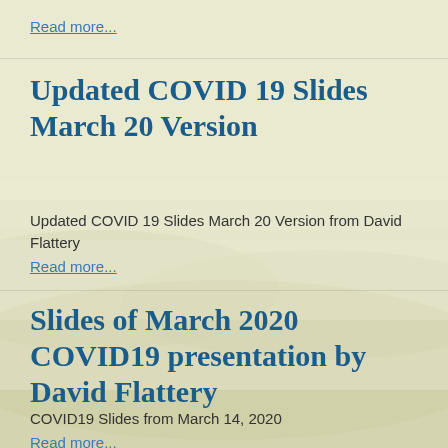Read more...
Updated COVID 19 Slides March 20 Version
Updated COVID 19 Slides March 20 Version from David Flattery
Read more...
Slides of March 2020 COVID19 presentation by David Flattery
COVID19 Slides from March 14, 2020
Read more...